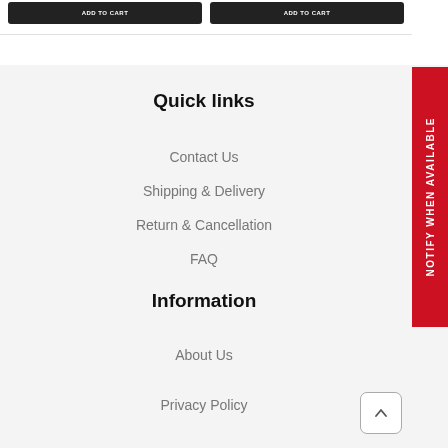[Figure (screenshot): Two dark buttons at the top of the page (partially visible), likely Add to Cart buttons]
Quick links
Contact Us
Shipping & Delivery
Return & Cancellation
FAQ
Information
About Us
Privacy Policy